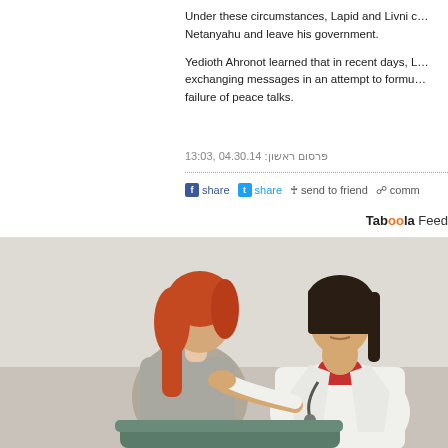Under these circumstances, Lapid and Livni c... Netanyahu and leave his government.
Yedioth Ahronot learned that in recent days, L... exchanging messages in an attempt to formu... failure of peace talks.
פרסום ראשון: 04.30.14 ,13:03
share  share  send to friend  comm
Taboola Feed
[Figure (photo): A female doctor in a white coat with a red turtleneck and stethoscope examining a patient (woman with red hair in a grey top) from behind, touching her back. The patient is seated and turned away. The background shows a light-colored wallpapered room.]